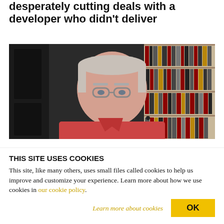desperately cutting deals with a developer who didn't deliver
[Figure (photo): A middle-aged man with glasses and short gray hair wearing a red polo shirt, seated in front of bookshelves filled with books.]
THIS SITE USES COOKIES
This site, like many others, uses small files called cookies to help us improve and customize your experience. Learn more about how we use cookies in our cookie policy.
Learn more about cookies
OK